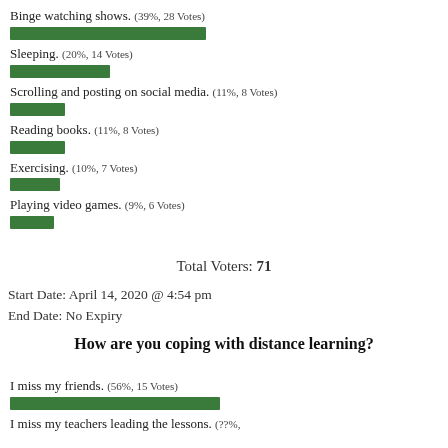[Figure (bar-chart): Poll results - free time activities]
Total Voters: 71
Start Date: April 14, 2020 @ 4:54 pm
End Date: No Expiry
How are you coping with distance learning?
[Figure (bar-chart): Poll results - distance learning coping]